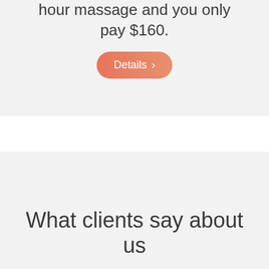hour massage and you only pay $160.
[Figure (other): Details button with chevron arrow, salmon/coral gradient rounded rectangle]
What clients say about us